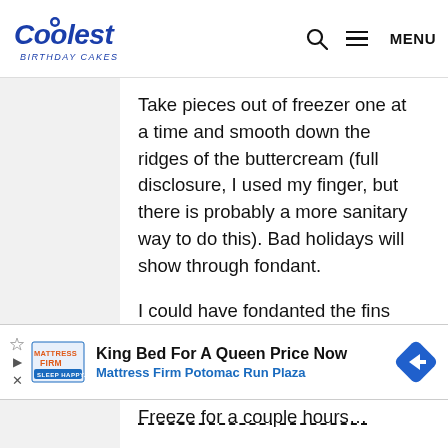Coolest Birthday Cakes — MENU
Take pieces out of freezer one at a time and smooth down the ridges of the buttercream (full disclosure, I used my finger, but there is probably a more sanitary way to do this). Bad holidays will show through fondant.
I could have fondanted the fins without seams, but I was in a hurry, and used my pasta maker for the fins first (6" widths, but saved me a lot of rolling). I tried to cut seams at the edges to keep it neat. Lastly, I fondanted the body. I just simply could… ondant …de.
[Figure (infographic): Advertisement banner: Mattress Firm logo, text 'King Bed For A Queen Price Now', subtext 'Mattress Firm Potomac Run Plaza', blue diamond navigation icon]
Freeze for a couple hours…